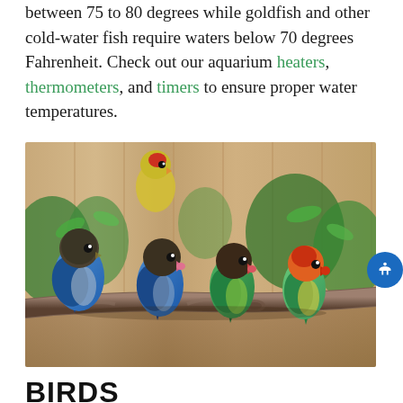between 75 to 80 degrees while goldfish and other cold-water fish require waters below 70 degrees Fahrenheit. Check out our aquarium heaters, thermometers, and timers to ensure proper water temperatures.
[Figure (photo): Five lovebirds perched on a branch in front of a wooden background with green foliage. Two blue-bodied birds with dark heads, two green-bodied birds with dark heads and pink beaks, and one colorful bird with orange-red face and green body on the right. A yellow-green bird is partially visible in the upper left background.]
BIRDS